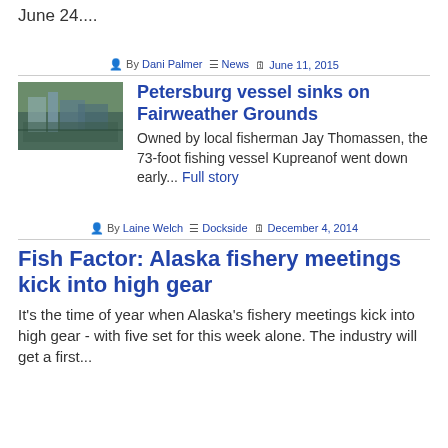June 24....
By Dani Palmer · News · June 11, 2015
Petersburg vessel sinks on Fairweather Grounds
Owned by local fisherman Jay Thomassen, the 73-foot fishing vessel Kupreanof went down early... Full story
[Figure (photo): Photo of a fishing vessel or dock scene, thumbnail image]
By Laine Welch · Dockside · December 4, 2014
Fish Factor: Alaska fishery meetings kick into high gear
It's the time of year when Alaska's fishery meetings kick into high gear - with five set for this week alone. The industry will get a first...